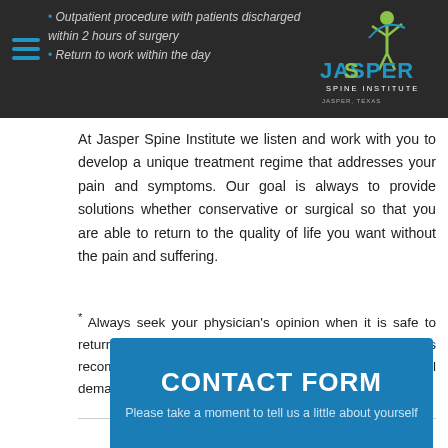Outpatient procedure with patients discharged within 2 hours of surgery | Return to work within the day
[Figure (logo): Jasper Spine Institute logo with figure icon and text]
At Jasper Spine Institute we listen and work with you to develop a unique treatment regime that addresses your pain and symptoms. Our goal is always to provide solutions whether conservative or surgical so that you are able to return to the quality of life you want without the pain and suffering.
* Always seek your physician's opinion when it is safe to return to work. Also, light administrative duty is recommended until your physician approves of any physical demands at your place of work.
CONTACT FORM
Please take a moment to tell us a little about yourself